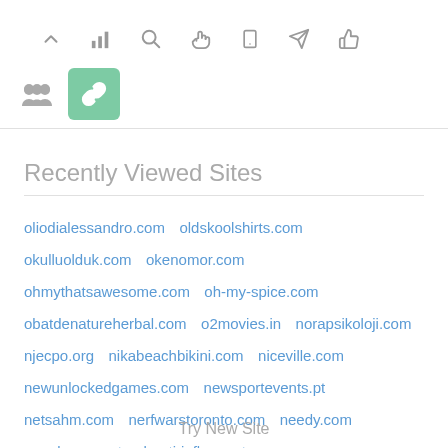[Figure (screenshot): Top navigation toolbar with icons: chevron up, bar chart, search, hand pointer, mobile, send/navigate, thumb up]
[Figure (screenshot): Second toolbar row with people/group icon and a green rounded square button with chain/link icon (active/selected state)]
Recently Viewed Sites
oliodialessandro.com  oldskoolshirts.com  okulluolduk.com  okenomor.com  ohmythatsawesome.com  oh-my-spice.com  obatdenatureherbal.com  o2movies.in  norapsikoloji.com  njecpo.org  nikabeachbikini.com  niceville.com  newunlockedgames.com  newsportevents.pt  netsahm.com  nerfwarstoronto.com  needy.com  ncrcd.org  natural-anti-inflammatory.org  nastripertapisroulant.com
Try New Site